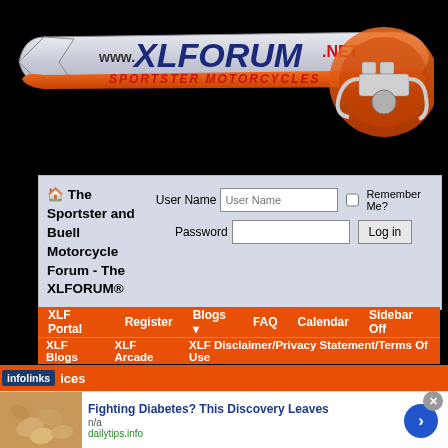[Figure (logo): XLFORUM.NET Sportster Motorcycles website logo with stylized chrome/silver wing shape, dark blue XLFORUM text, red .NET, red italic SPORTSTER MOTORCYCLES text, and orange/chrome motorcycle engine graphic on right]
🏠 The Sportster and Buell Motorcycle Forum - The XLFORUM®
User Name | Password | Remember Me? | Log in
XLF Portal   Register   Blogs ▼   FAQ   Calendar   Sidebar Off
XLF Blogs   XLF Arcade   XLF Disclaimer/Privacy Statement/Terms Of Use
infolinks   ices
Fighting Diabetes? This Discovery Leaves
n/a
dailytips.info